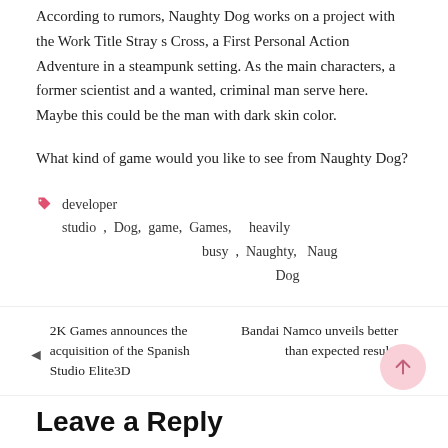According to rumors, Naughty Dog works on a project with the Work Title Stray s Cross, a First Personal Action Adventure in a steampunk setting. As the main characters, a former scientist and a wanted, criminal man serve here. Maybe this could be the man with dark skin color.
What kind of game would you like to see from Naughty Dog?
developer studio , Dog, game, Games, heavily busy , Naughty, Naughty Dog
2K Games announces the acquisition of the Spanish Studio Elite3D
Bandai Namco unveils better than expected results
Leave a Reply